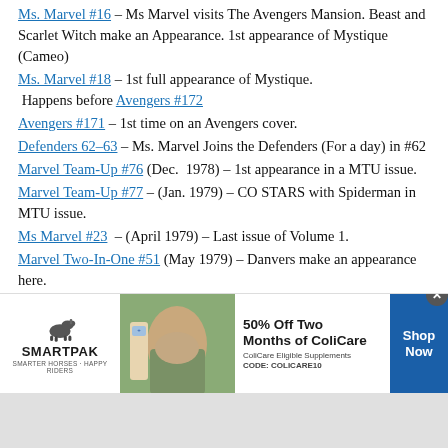Ms. Marvel #16 – Ms Marvel visits The Avengers Mansion. Beast and Scarlet Witch make an Appearance. 1st appearance of Mystique (Cameo)
Ms. Marvel #18 – 1st full appearance of Mystique. Happens before Avengers #172
Avengers #171 – 1st time on an Avengers cover.
Defenders 62–63 – Ms. Marvel Joins the Defenders (For a day) in #62
Marvel Team-Up #76 (Dec. 1978) – 1st appearance in a MTU issue.
Marvel Team-Up #77 – (Jan. 1979) – CO STARS with Spiderman in MTU issue.
Ms Marvel #23 – (April 1979) – Last issue of Volume 1.
Marvel Two-In-One #51 (May 1979) – Danvers make an appearance here.
[Figure (infographic): SmartPak advertisement banner: '50% Off Two Months of ColiCare, ColiCare Eligible Supplements, CODE: COLICARE10' with Shop Now button, SmartPak logo, horse image, and supplement product image.]